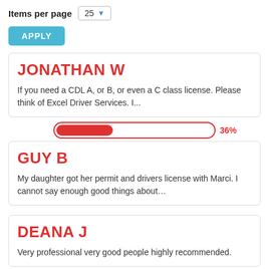Items per page  25
APPLY
JONATHAN W
If you need a CDL A, or B, or even a C class license. Please think of Excel Driver Services. I...
[Figure (other): A horizontal progress bar showing approximately 36% filled in red, with a red border outline on white background]
GUY B
My daughter got her permit and drivers license with Marci. I cannot say enough good things about…
DEANA J
Very professional very good people highly recommended.